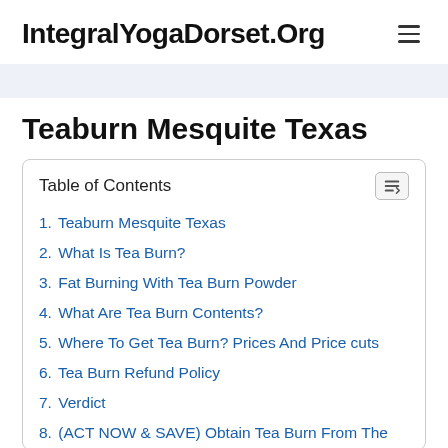IntegralYogaDorset.Org
Teaburn Mesquite Texas
| Table of Contents |
| --- |
| 1. Teaburn Mesquite Texas |
| 2. What Is Tea Burn? |
| 3. Fat Burning With Tea Burn Powder |
| 4. What Are Tea Burn Contents? |
| 5. Where To Get Tea Burn? Prices And Price cuts |
| 6. Tea Burn Refund Policy |
| 7. Verdict |
| 8. (ACT NOW & SAVE) Obtain Tea Burn From The Official Site With Up To 50% OFF Click H... |